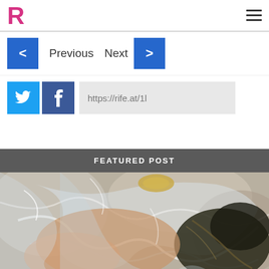[Figure (logo): Pink R logo for Rife website brand]
[Figure (other): Hamburger menu icon (three horizontal lines)]
[Figure (other): Navigation row with Previous and Next buttons, blue arrow buttons on left and right]
[Figure (other): Social share row with Twitter (blue bird), Facebook (dark blue f), and URL box showing https://rife.at/1l]
FEATURED POST
[Figure (photo): Photo of a person wrapped in plastic/cellophane wrap, dark hair visible, featured post thumbnail image]